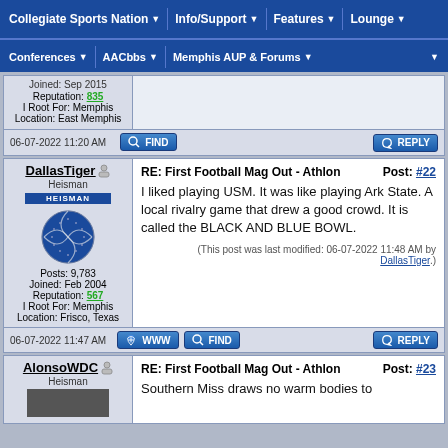Collegiate Sports Nation | Info/Support | Features | Lounge | Conferences | AACbbs | Memphis AUP & Forums
Joined: Sep 2015
Reputation: 835
I Root For: Memphis
Location: East Memphis
06-07-2022 11:20 AM
RE: First Football Mag Out - Athlon  Post: #22
DallasTiger
Posts: 9,783
Joined: Feb 2004
Reputation: 567
I Root For: Memphis
Location: Frisco, Texas
I liked playing USM. It was like playing Ark State. A local rivalry game that drew a good crowd. It is called the BLACK AND BLUE BOWL.
(This post was last modified: 06-07-2022 11:48 AM by DallasTiger.)
06-07-2022 11:47 AM
RE: First Football Mag Out - Athlon  Post: #23
AlonsoWDC
Southern Miss draws no warm bodies to